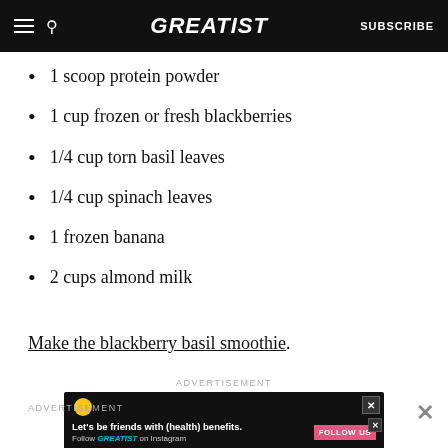GREATIST | SUBSCRIBE
1 scoop protein powder
1 cup frozen or fresh blackberries
1/4 cup torn basil leaves
1/4 cup spinach leaves
1 frozen banana
2 cups almond milk
Make the blackberry basil smoothie.
[Figure (screenshot): Advertisement banner showing 'Let's be friends' on dark background with decorative elements and a 'Let's be friends with (health) benefits. Follow GREATIST on Instagram' sub-banner with a pink FOLLOW US button.]